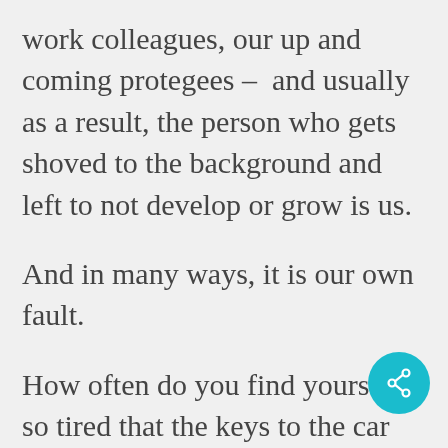work colleagues, our up and coming protegees –  and usually as a result, the person who gets shoved to the background and left to not develop or grow is us.
And in many ways, it is our own fault.
How often do you find yourself so tired that the keys to the car end up in the fridge, and the milk somewhere completely unexpected? I bet you have, like me, walked into the supermarket